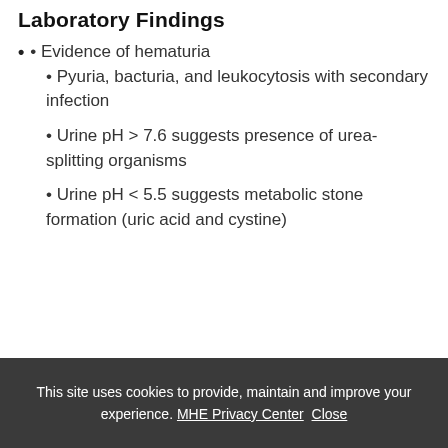Laboratory Findings
• Evidence of hematuria
• Pyuria, bacturia, and leukocytosis with secondary infection
• Urine pH > 7.6 suggests presence of urea-splitting organisms
• Urine pH < 5.5 suggests metabolic stone formation (uric acid and cystine)
This site uses cookies to provide, maintain and improve your experience. MHE Privacy Center Close